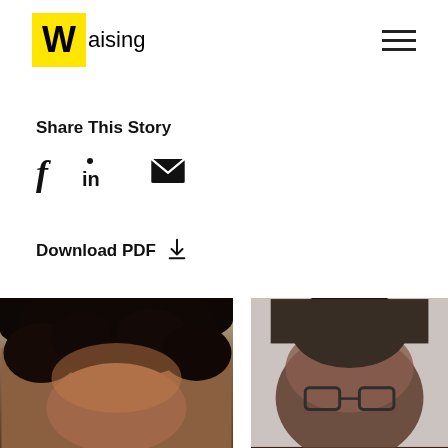[Figure (logo): Waising logo: yellow square with bold W followed by 'aising' text]
[Figure (other): Hamburger menu icon (three horizontal lines) in top right corner]
Share This Story
[Figure (other): Social share icons: Facebook (f), LinkedIn (in), and Email (envelope icon)]
Download PDF
[Figure (photo): Two portrait photos at bottom: left shows a person with curly dark hair, right shows a person wearing glasses]